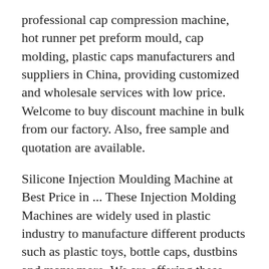professional cap compression machine, hot runner pet preform mould, cap molding, plastic caps manufacturers and suppliers in China, providing customized and wholesale services with low price. Welcome to buy discount machine in bulk from our factory. Also, free sample and quotation are available.
Silicone Injection Moulding Machine at Best Price in ... These Injection Molding Machines are widely used in plastic industry to manufacture different products such as plastic toys, bottle caps, dustbins and many more. We are offering these machines in various specifications, to meet the exact requirements of the customera s. Features: Durable finish Low maintenance
KINGTOP INTERNATIONAL GROUP LTD | LinkedIn www.linkedin.com › company › kingtop-internationalbottle blow molding machine, bottle blowing